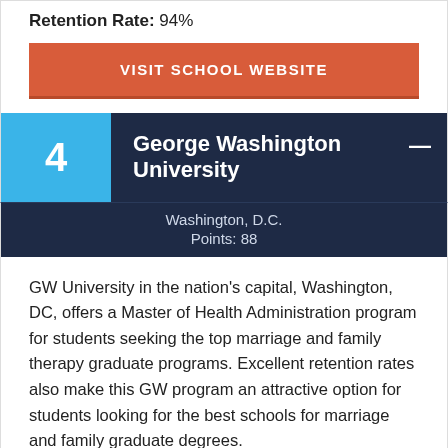Retention Rate: 94%
VISIT SCHOOL WEBSITE
4  George Washington University
Washington, D.C.
Points: 88
GW University in the nation's capital, Washington, DC, offers a Master of Health Administration program for students seeking the top marriage and family therapy graduate programs. Excellent retention rates also make this GW program an attractive option for students looking for the best schools for marriage and family graduate degrees.